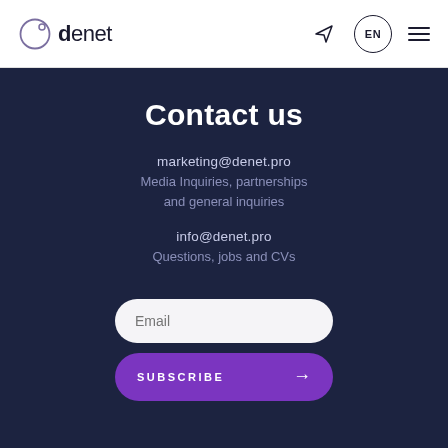denet  EN
Contact us
marketing@denet.pro
Media Inquiries, partnerships and general inquiries
info@denet.pro
Questions, jobs and CVs
Email
SUBSCRIBE →